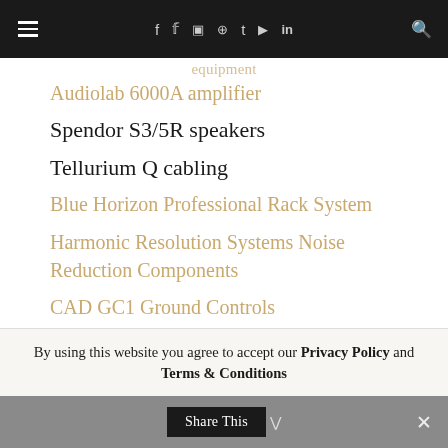≡  f  𝕋  ⊡  ⊕  t  ▶  in  🔍
Audiolab 6000A amplifier
Spendor S3/5R speakers
Tellurium Q cabling
Blue Horizon Professional Rack System
Harmonic Resolution Systems Noise Reduction Components
CAD GC1 Ground Controls
By using this website you agree to accept our Privacy Policy and Terms & Conditions
Share This